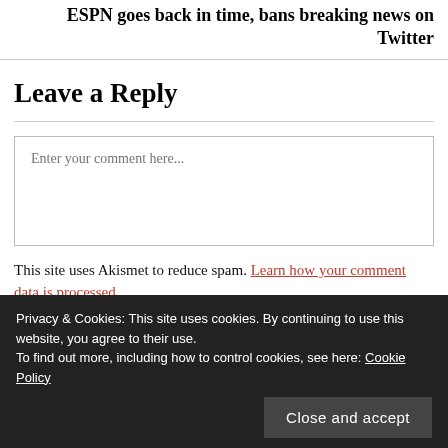ESPN goes back in time, bans breaking news on Twitter
Leave a Reply
Enter your comment here...
This site uses Akismet to reduce spam. Learn how your comment data is processed.
Privacy & Cookies: This site uses cookies. By continuing to use this website, you agree to their use.
To find out more, including how to control cookies, see here: Cookie Policy
Close and accept